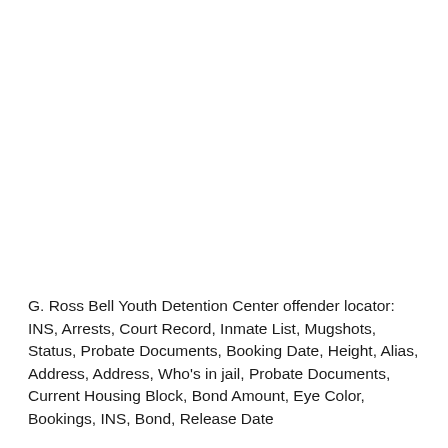G. Ross Bell Youth Detention Center offender locator: INS, Arrests, Court Record, Inmate List, Mugshots, Status, Probate Documents, Booking Date, Height, Alias, Address, Address, Who's in jail, Probate Documents, Current Housing Block, Bond Amount, Eye Color, Bookings, INS, Bond, Release Date